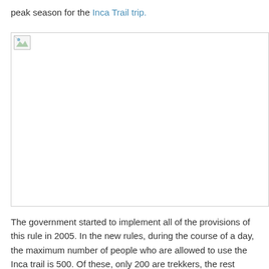peak season for the Inca Trail trip.
[Figure (photo): Broken/unloaded image placeholder showing an image related to the Inca Trail]
The government started to implement all of the provisions of this rule in 2005. In the new rules, during the course of a day, the maximum number of people who are allowed to use the Inca trail is 500. Of these, only 200 are trekkers, the rest include cooks, porters, and guides. Another significant aspect of this law is that the trekking businesses who operate on the Inca Trail must